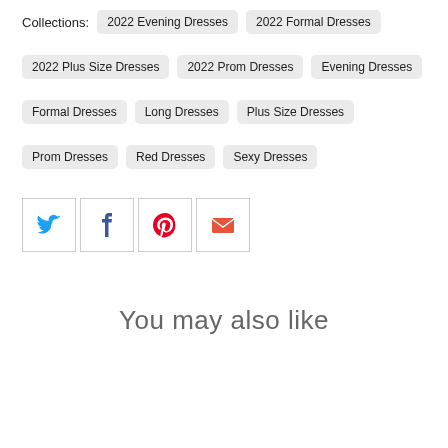Collections: 2022 Evening Dresses 2022 Formal Dresses 2022 Plus Size Dresses 2022 Prom Dresses Evening Dresses Formal Dresses Long Dresses Plus Size Dresses Prom Dresses Red Dresses Sexy Dresses
[Figure (infographic): Social share buttons: Twitter (blue bird), Facebook (blue f), Pinterest (red P), Email (orange envelope)]
You may also like